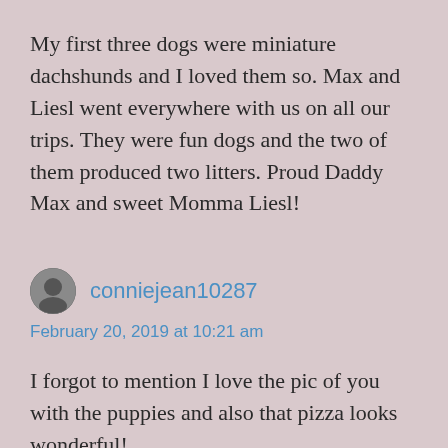My first three dogs were miniature dachshunds and I loved them so. Max and Liesl went everywhere with us on all our trips. They were fun dogs and the two of them produced two litters. Proud Daddy Max and sweet Momma Liesl!
conniejean10287
February 20, 2019 at 10:21 am
I forgot to mention I love the pic of you with the puppies and also that pizza looks wonderful!